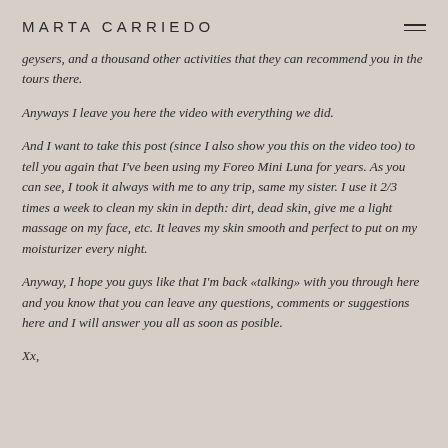MARTA CARRIEDO
geysers, and a thousand other activities that they can recommend you in the tours there.
Anyways I leave you here the video with everything we did.
And I want to take this post (since I also show you this on the video too) to tell you again that I've been using my Foreo Mini Luna for years. As you can see, I took it always with me to any trip, same my sister. I use it 2/3 times a week to clean my skin in depth: dirt, dead skin, give me a light massage on my face, etc. It leaves my skin smooth and perfect to put on my moisturizer every night.
Anyway, I hope you guys like that I'm back «talking» with you through here and you know that you can leave any questions, comments or suggestions here and I will answer you all as soon as posible.
Xx,